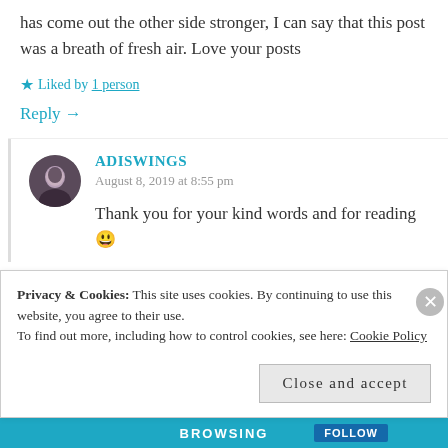has come out the other side stronger, I can say that this post was a breath of fresh air. Love your posts
★ Liked by 1 person
Reply →
ADISWINGS
August 8, 2019 at 8:55 pm
Thank you for your kind words and for reading 😊
Privacy & Cookies: This site uses cookies. By continuing to use this website, you agree to their use. To find out more, including how to control cookies, see here: Cookie Policy
Close and accept